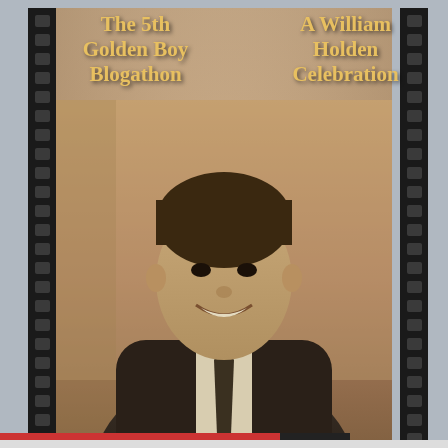[Figure (illustration): Movie poster for 'The 5th Golden Boy Blogathon - A William Holden Celebration', featuring a sepia-toned photo of William Holden smiling in a suit and tie, with film strip borders on left and right, text overlaid in gold/yellow serif font. Bottom portion shows hosted credits for The Flapper Dame, The Wonderful World of Cinema and Love Letters to Old.]
Privacy & Cookies: This site uses cookies. By continuing to use this website, you agree to their use.
To find out more, including how to control cookies, see here: Cookie Policy
Close and accept